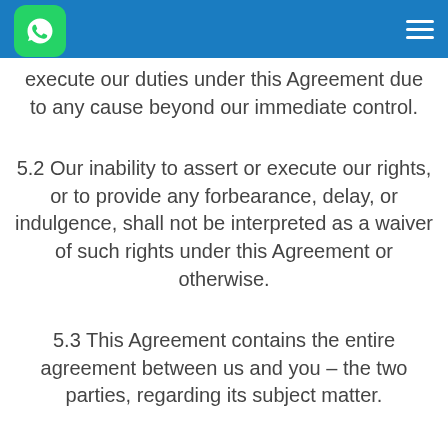WhatsApp header navigation
execute our duties under this Agreement due to any cause beyond our immediate control.
5.2 Our inability to assert or execute our rights, or to provide any forbearance, delay, or indulgence, shall not be interpreted as a waiver of such rights under this Agreement or otherwise.
5.3 This Agreement contains the entire agreement between us and you – the two parties, regarding its subject matter.